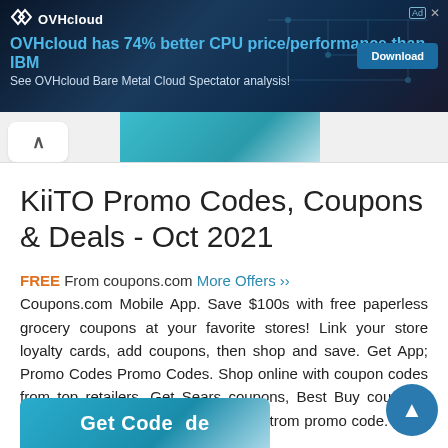[Figure (screenshot): OVHcloud advertisement banner with dark blue background and circuit board graphics. Logo with 'OVHcloud' text. Headline: 'OVHcloud has 74% better CPU price/performance than IBM'. Subline: 'See OVHcloud Bare Metal Cloud Spectator analysis!' with Download button.]
KiiTO Promo Codes, Coupons & Deals - Oct 2021
FREE From coupons.com More Offers »» Coupons.com Mobile App. Save $100s with free paperless grocery coupons at your favorite stores! Link your store loyalty cards, add coupons, then shop and save. Get App; Promo Codes Promo Codes. Shop online with coupon codes from top retailers. Get Sears coupons, Best Buy coupons, and enjoy great savings with a Nordstrom promo code. Shop Now ...
[Figure (screenshot): Teal 'Get Code' button at the bottom of the page]